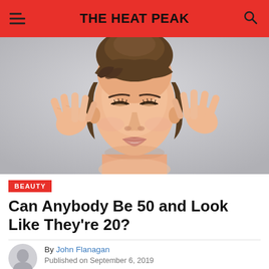THE HEAT PEAK
[Figure (photo): Woman with closed eyes gently pressing fingertips to her temples, appearing calm and relaxed, light gray background]
BEAUTY
Can Anybody Be 50 and Look Like They're 20?
By John Flanagan
Published on September 6, 2019